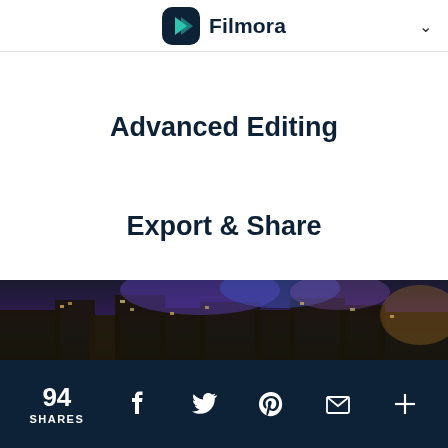Filmora
Advanced Editing
Export & Share
[Figure (photo): Night cityscape photo showing illuminated buildings with purple and blue lighting]
94 SHARES | Facebook | Twitter | Pinterest | Email | More